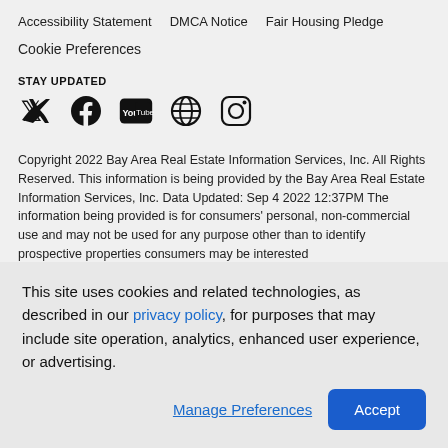Accessibility Statement   DMCA Notice   Fair Housing Pledge
Cookie Preferences
STAY UPDATED
[Figure (illustration): Social media icons: Twitter, Facebook, YouTube, Globe/Web, Instagram]
Copyright 2022 Bay Area Real Estate Information Services, Inc. All Rights Reserved. This information is being provided by the Bay Area Real Estate Information Services, Inc. Data Updated: Sep 4 2022 12:37PM The information being provided is for consumers' personal, non-commercial use and may not be used for any purpose other than to identify prospective properties consumers may be interested
This site uses cookies and related technologies, as described in our privacy policy, for purposes that may include site operation, analytics, enhanced user experience, or advertising.
Manage Preferences
Accept